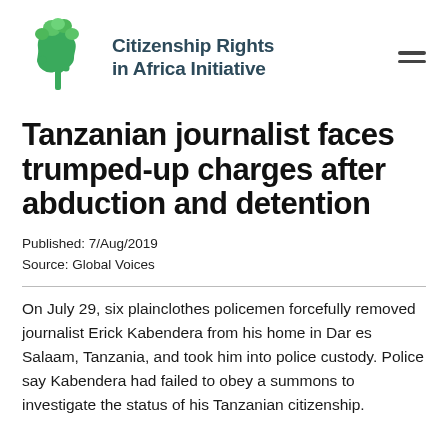[Figure (logo): Citizenship Rights in Africa Initiative logo — green tree with Africa continent shape, organization name in dark teal bold text]
Tanzanian journalist faces trumped-up charges after abduction and detention
Published: 7/Aug/2019
Source: Global Voices
On July 29, six plainclothes policemen forcefully removed journalist Erick Kabendera from his home in Dar es Salaam, Tanzania, and took him into police custody. Police say Kabendera had failed to obey a summons to investigate the status of his Tanzanian citizenship.